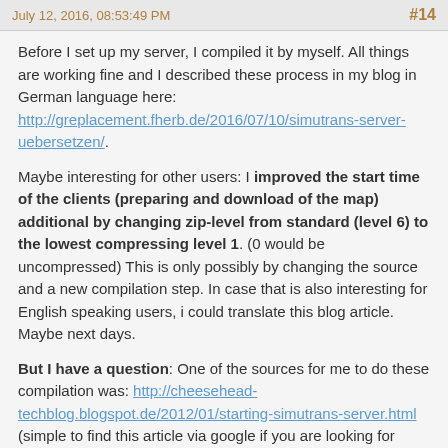July 12, 2016, 08:53:49 PM  #14
Before I set up my server, I compiled it by myself. All things are working fine and I described these process in my blog in German language here: http://greplacement.fherb.de/2016/07/10/simutrans-server-uebersetzen/.
Maybe interesting for other users: I improved the start time of the clients (preparing and download of the map) additional by changing zip-level from standard (level 6) to the lowest compressing level 1. (0 would be uncompressed) This is only possibly by changing the source and a new compilation step. In case that is also interesting for English speaking users, i could translate this blog article. Maybe next days.
But I have a question: One of the sources for me to do these compilation was: http://cheesehead-techblog.blogspot.de/2012/01/starting-simutrans-server.html (simple to find this article via google if you are looking for server compilation of simutrans)
In this article Ian wrote this: